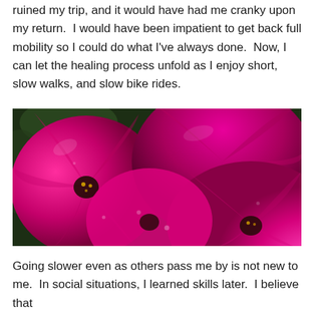ruined my trip, and it would have had me cranky upon my return.  I would have been impatient to get back full mobility so I could do what I've always done.  Now, I can let the healing process unfold as I enjoy short, slow walks, and slow bike rides.
[Figure (photo): Close-up photograph of bright magenta/hot pink petunia flowers with dark green foliage visible in the background. Multiple blooms fill the frame.]
Going slower even as others pass me by is not new to me.  In social situations, I learned skills later.  I believe that